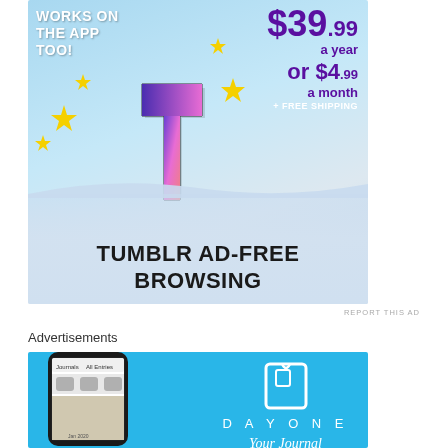[Figure (infographic): Tumblr Ad-Free Browsing advertisement on a light blue sky background. Features the Tumblr 't' logo with sparkles, text 'WORKS ON THE APP TOO!' in white, pricing $39.99 a year or $4.99 a month + FREE SHIPPING in purple, and 'TUMBLR AD-FREE BROWSING' in black at the bottom on a wave banner.]
REPORT THIS AD
Advertisements
[Figure (infographic): Day One app advertisement on a cyan/blue background. Shows a phone mockup on the left with the app interface, and on the right a book/journal icon, DAYONE wordmark, and 'Your Journal' text.]